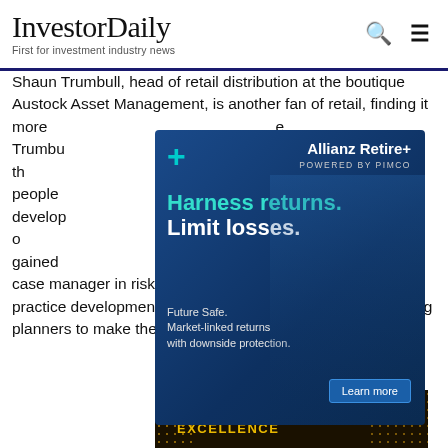InvestorDaily — First for investment industry news
Shaun Trumbull, head of retail distribution at the boutique Austock Asset Management, is another fan of retail, finding it more [ad overlay] ...Trumbull believes [ad overlay] ... "I think th[ad overlay] at people [ad overlay] ct develop[ad overlay] al in terms o[ad overlay] umbull gained[ad overlay] ng for Tower Life as a case manager in risk. He then joined Count Financial as a practice development manager, selling services and assisting planners to make their business more efficient.
[Figure (advertisement): Allianz Retire+ powered by PIMCO advertisement. Blue background with older man in denim shirt. Text reads: Harness returns. Limit losses. Future Safe. Market-linked returns with downside protection. Learn more button.]
[Figure (other): IFA Excellence awards banner with gold bokeh dots on dark background, text reads: ifa EXCELLENCE]